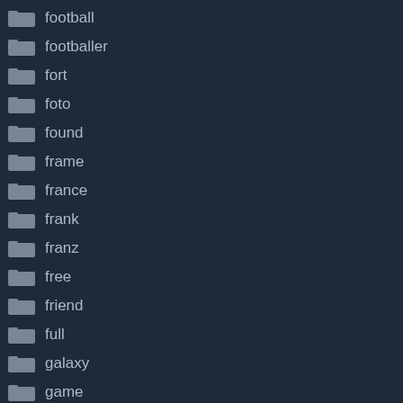football
footballer
fort
foto
found
frame
france
frank
franz
free
friend
full
galaxy
game
gareth
genuine
george
gerard